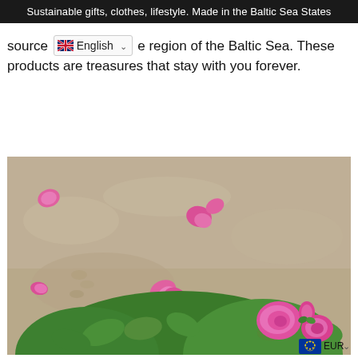Sustainable gifts, clothes, lifestyle. Made in the Baltic Sea States
source [English dropdown] e region of the Baltic Sea. These products are treasures that stay with you forever.
[Figure (photo): Pink rose petals scattered on sandy beach with green rose bush in the lower right corner. A small EU flag badge with EUR currency selector is visible in the bottom right.]